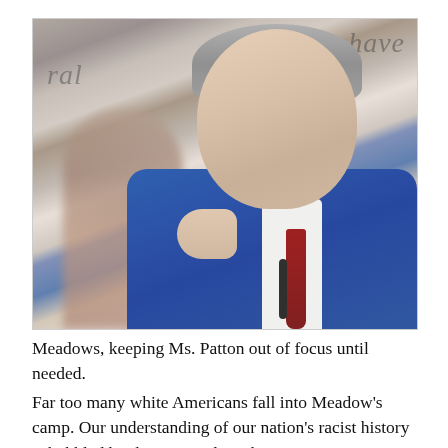[Figure (photo): A man in a blue suit pointing a finger, with a blurred woman behind him and text on a banner in the background.]
Meadows, keeping Ms. Patton out of focus until needed.
Far too many white Americans fall into Meadow's camp. Our understanding of our nation's racist history is hobbled by the same values that it...